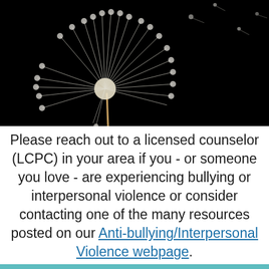[Figure (photo): Close-up photograph of a dandelion seed head (white puffy seeds) against a pure black background, with seeds dispersing to the right.]
Please reach out to a licensed counselor (LCPC) in your area if you - or someone you love - are experiencing bullying or interpersonal violence or consider contacting one of the many resources posted on our Anti-bullying/Interpersonal Violence webpage.